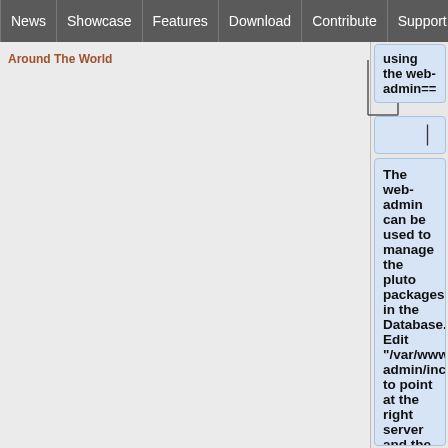News | Showcase | Features | Download | Contribute | Support
Around The World
using the web-admin==
The web-admin can be used to manage the pluto packages in the Database. Edit "/var/www/pluto-admin/include/config/globalconfig.inc.php" to point at the right server and the pluto_main_build DB instead of the